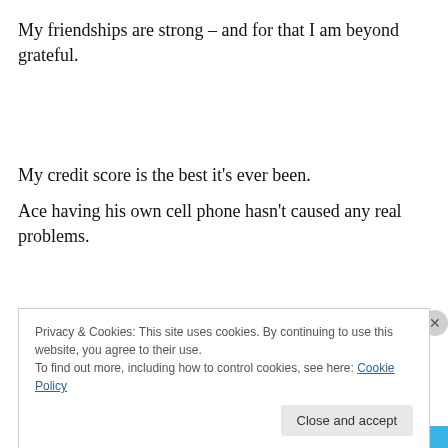My friendships are strong – and for that I am beyond grateful.
My credit score is the best it's ever been.
Ace having his own cell phone hasn't caused any real problems.
Privacy & Cookies: This site uses cookies. By continuing to use this website, you agree to their use.
To find out more, including how to control cookies, see here: Cookie Policy
Close and accept